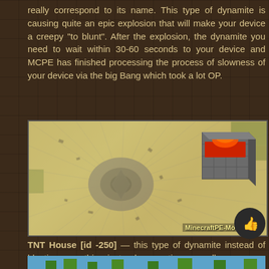really correspond to its name. This type of dynamite is causing quite an epic explosion that will make your device a creepy "to blunt". After the explosion, the dynamite you need to wait within 30-60 seconds to your device and MCPE has finished processing the process of slowness of your device via the big Bang which took a lot OP.
[Figure (screenshot): Minecraft screenshot showing a massive TNT explosion crater viewed from above, with a TNT block in the upper right corner. Watermark reads MinecraftPE-Mods.com]
TNT House [id -250] — this type of dynamite instead of blasting something instead generating a small cozy house.
[Figure (screenshot): Bottom edge of a Minecraft screenshot showing trees and sky, partially visible at bottom of page.]